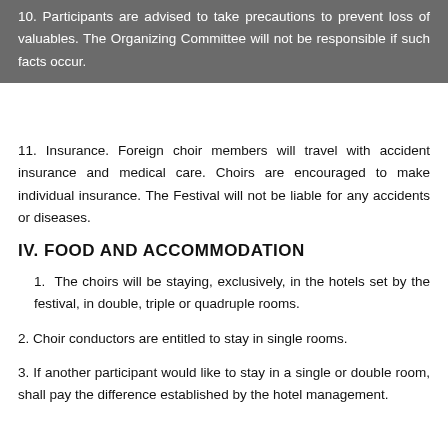10. Participants are advised to take precautions to prevent loss of valuables. The Organizing Committee will not be responsible if such facts occur.
11. Insurance. Foreign choir members will travel with accident insurance and medical care. Choirs are encouraged to make individual insurance. The Festival will not be liable for any accidents or diseases.
IV. FOOD AND ACCOMMODATION
1. The choirs will be staying, exclusively, in the hotels set by the festival, in double, triple or quadruple rooms.
2. Choir conductors are entitled to stay in single rooms.
3. If another participant would like to stay in a single or double room, shall pay the difference established by the hotel management.